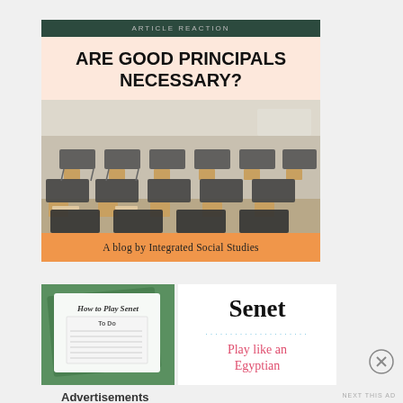ARTICLE REACTION
ARE GOOD PRINCIPALS NECESSARY?
[Figure (photo): Classroom with rows of student desks and wooden chairs, no students present]
A blog by Integrated Social Studies
[Figure (photo): Green paper booklet titled 'How to Play Senet' with instructions and a To Do section]
Senet
Play like an Egyptian
Advertisements